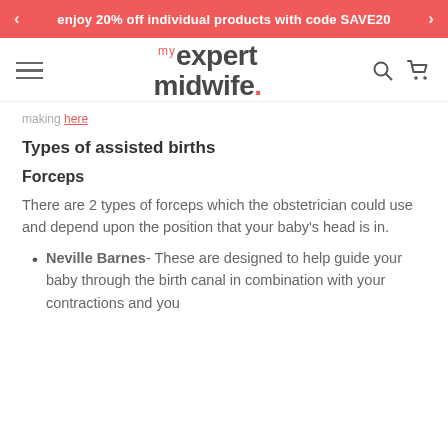enjoy 20% off individual products with code SAVE20
[Figure (logo): My Expert Midwife logo with hamburger menu, search and cart icons]
making here
Types of assisted births
Forceps
There are 2 types of forceps which the obstetrician could use and depend upon the position that your baby's head is in.
Neville Barnes- These are designed to help guide your baby through the birth canal in combination with your contractions and you